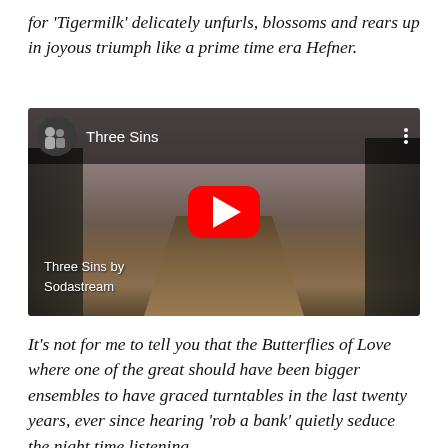for 'Tigermilk' delicately unfurls, blossoms and rears up in joyous triumph like a prime time era Hefner.
[Figure (screenshot): Embedded YouTube video player showing 'Three Sins by Sodastream'. The thumbnail shows a dirt road through a forest under an overcast sky. The YouTube interface shows a channel avatar with two people, the title 'Three Sins', a red play button in the center, a three-dot menu icon, and a bottom label reading 'Three Sins by Sodastream'.]
It's not for me to tell you that the Butterflies of Love where one of the great should have been bigger ensembles to have graced turntables in the last twenty years, ever since hearing 'rob a bank' quietly seduce the night time listening